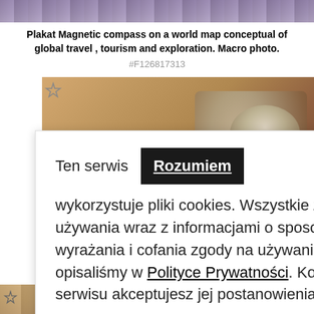[Figure (photo): Top image strip showing purple/lavender tones, partial view of travel-related photo]
Plakat Magnetic compass on a world map conceptual of global travel , tourism and exploration. Macro photo.
#F126817313
[Figure (photo): Background photo of vintage navigational instruments (compass/sextant) on an old map, warm brown tones]
Ten serwis wykorzystuje pliki cookies. Wszystkie zasady ich używania wraz z informacjami o sposobie wyrażania i cofania zgody na używanie cookies, opisaliśmy w Polityce Prywatności. Korzystając z serwisu akceptujesz jej postanowienia.
vintage map. Retro style.
[Figure (photo): Bottom strip showing partial view of an old vintage map]